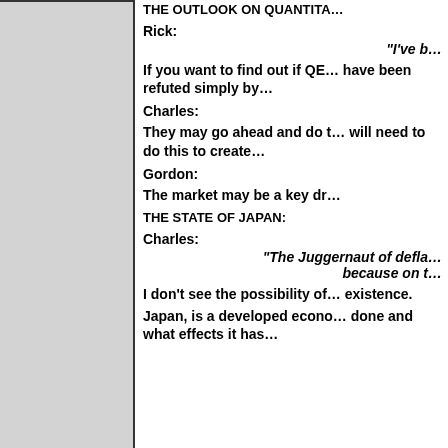THE OUTLOOK ON QUANTITA…
Rick:
“I’ve b…
If you want to find out if QE… have been refuted simply by…
Charles:
They may go ahead and do t… will need to do this to create…
Gordon:
The market may be a key dr…
THE STATE OF JAPAN:
Charles:
“The Juggernaut of defla… because on t…
I don’t see the possibility of… existence.
Japan, is a developed econo… done and what effects it has…